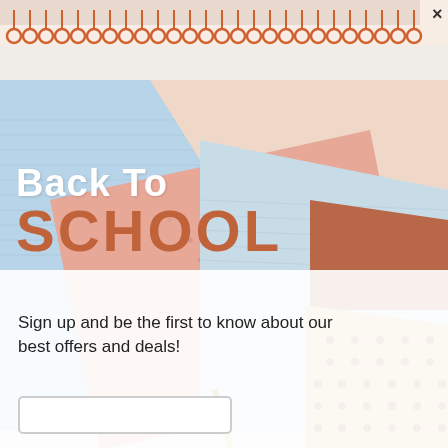[Figure (photo): Overhead photo of school notebooks/notepads in pastel colors (light blue, pink/salmon, tan with dots, terracotta) arranged overlapping on a white surface, with a pencil visible]
[Spiral notebook banner with decorative top edge and × close button]
Back To SCHOOL
Sign up and be the first to know about our best offers and deals!